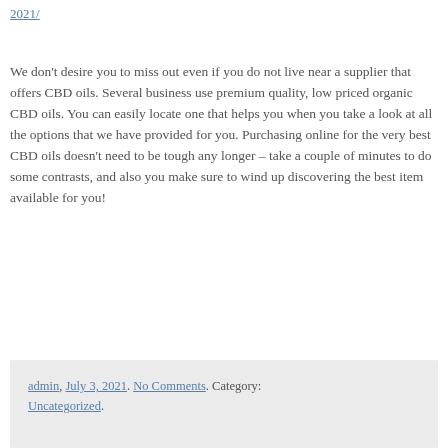2021/
We don’t desire you to miss out even if you do not live near a supplier that offers CBD oils. Several business use premium quality, low priced organic CBD oils. You can easily locate one that helps you when you take a look at all the options that we have provided for you. Purchasing online for the very best CBD oils doesn’t need to be tough any longer – take a couple of minutes to do some contrasts, and also you make sure to wind up discovering the best item available for you!
admin, July 3, 2021. No Comments. Category: Uncategorized.